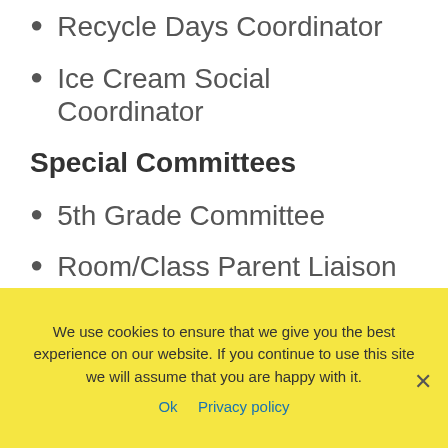Recycle Days Coordinator
Ice Cream Social Coordinator
Special Committees
5th Grade Committee
Room/Class Parent Liaison
TK/Kindergarten Liaison
D.O.G.S (Dads Of Great Students)
Jr. Theatre Chair
S.T.E.M Chair
We use cookies to ensure that we give you the best experience on our website. If you continue to use this site we will assume that you are happy with it.
Ok  Privacy policy